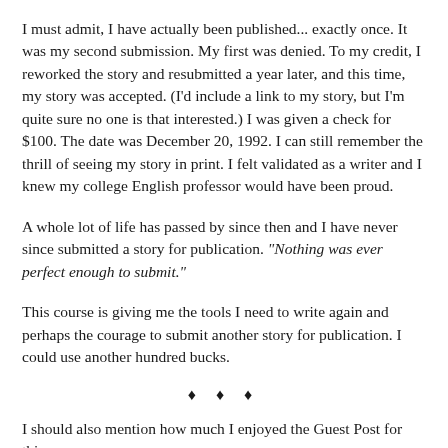I must admit, I have actually been published... exactly once.  It was my second submission.  My first was denied.  To my credit, I reworked the story and resubmitted a year later, and this time, my story was accepted. (I'd include a link to my story, but I'm quite sure no one is that interested.)  I was given a check for $100.  The date was December 20, 1992.   I can still remember the thrill of seeing my story in print. I felt validated as a writer and I knew my college English professor would have been proud.
A whole lot of life has passed by since then and I have never since submitted a story for publication.  "Nothing was ever perfect enough to submit."
This course is giving me the tools I need to write again and perhaps the courage to submit another story for publication. I could use another hundred bucks.
♦ ♦ ♦
I should also mention how much I enjoyed the Guest Post for this